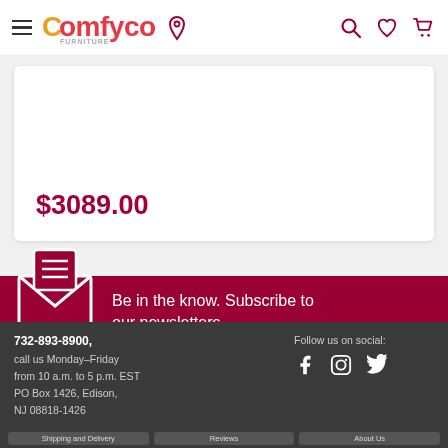Comfyco furniture navigation header
$3089.00
Be in the know. Subscribe to our newsletters
E-mail
Send
732-893-8900, call us Monday-Friday from 10 a.m. to 5 p.m. EST PO Box 1426, Edison, NJ 08818-1426 | Follow us on social: Facebook, Instagram, Twitter | Shipping and Delivery | Reviews | About Us